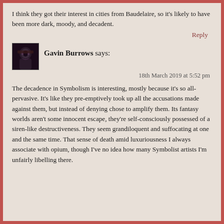I think they got their interest in cities from Baudelaire, so it's likely to have been more dark, moody, and decadent.
Reply
Gavin Burrows says:
18th March 2019 at 5:52 pm
The decadence in Symbolism is interesting, mostly because it's so all-pervasive. It's like they pre-emptively took up all the accusations made against them, but instead of denying chose to amplify them. Its fantasy worlds aren't some innocent escape, they're self-consciously possessed of a siren-like destructiveness. They seem grandiloquent and suffocating at one and the same time. That sense of death amid luxuriousness I always associate with opium, though I've no idea how many Symbolist artists I'm unfairly libelling there.